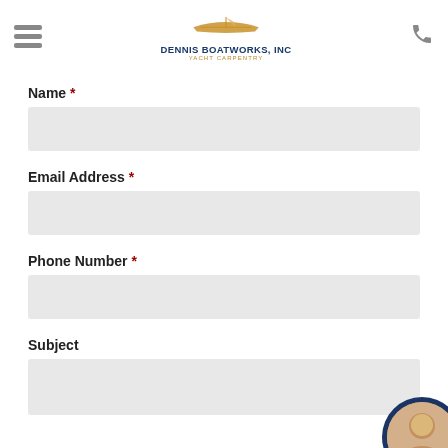Dennis Boatworks, Inc — Yacht Carpentry
Name *
Email Address *
Phone Number *
Subject
[Figure (photo): Circular avatar photo of a man smiling, positioned in bottom-right corner over a dark navy blue background panel.]